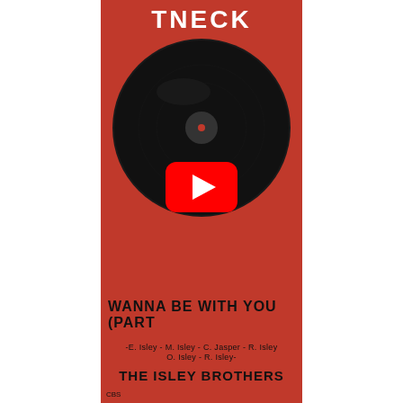TNECK
[Figure (photo): Black vinyl record disc on red/orange background]
[Figure (other): YouTube play button overlay on the record disc]
WANNA BE WITH YOU (PART
-E. Isley - M. Isley - C. Jasper - R. Isley
O. Isley - R. Isley-
THE ISLEY BROTHERS
CBS